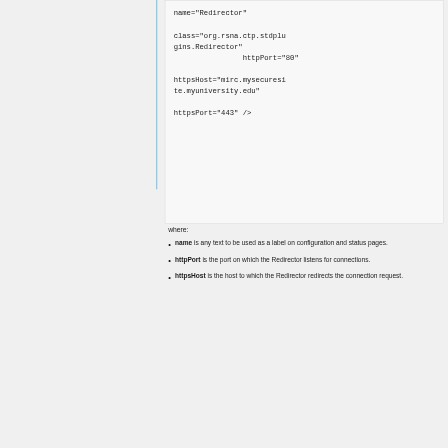name="Redirector"

class="org.rsna.ctp.stdplugins.Redirector"
                httpPort="80"

httpsHost="mirc.mysecuresite.myuniversity.edu"

httpsPort="443" />
where:
name is any text to be used as a label on configuration and status pages.
httpPort is the port on which the Redirector listens for connections.
httpsHost is the host to which the Redirector redirects the connection request.